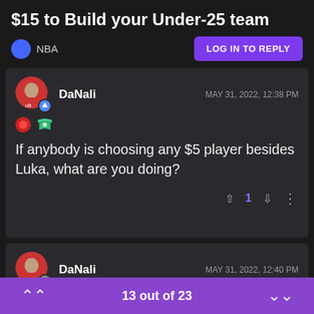$15 to Build your Under-25 team
NBA
LOG IN TO REPLY
DaNali — MAY 31, 2022, 12:38 PM
If anybody is choosing any $5 player besides Luka, what are you doing?
1
DaNali — MAY 31, 2022, 12:40 PM
13 out of 23